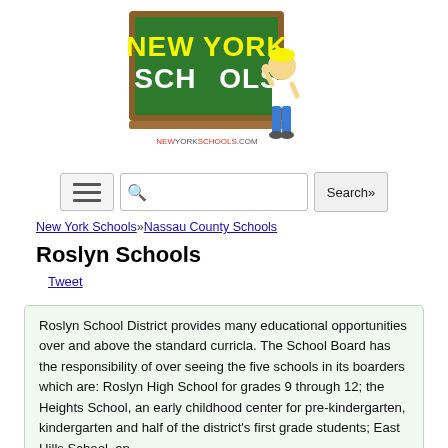[Figure (logo): New York Schools logo: green chalkboard with 'NEW YORK SCHOOLS' in yellow and white text, cartoon student figure scratching head, newyorkschools.com URL below]
[Figure (screenshot): Search bar UI with hamburger menu button, text input field with magnifying glass icon, and Search button]
New York Schools»Nassau County Schools
Roslyn Schools
Tweet
Roslyn School District provides many educational opportunities over and above the standard curricla. The School Board has the responsibility of over seeing the five schools in its boarders which are: Roslyn High School for grades 9 through 12; the Heights School, an early childhood center for pre-kindergarten, kindergarten and half of the district's first grade students; East Hills School, an elementary school...